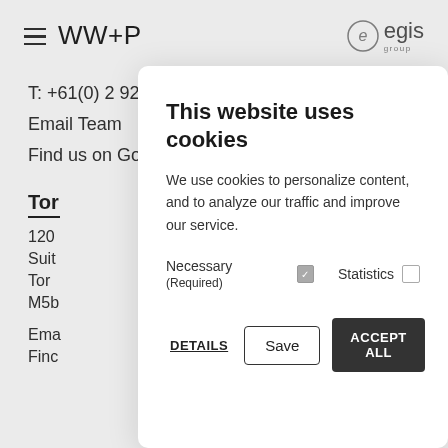WW+P | egis group
T: +61(0) 2 9211 1263
Email Team
Find us on Google Maps
Tor
120
Suit
Tor
M5b
Ema
Finc
This website uses cookies
We use cookies to personalize content, and to analyze our traffic and improve our service.
Necessary (Required)  ☑   Statistics  ☐
DETAILS   Save   ACCEPT ALL